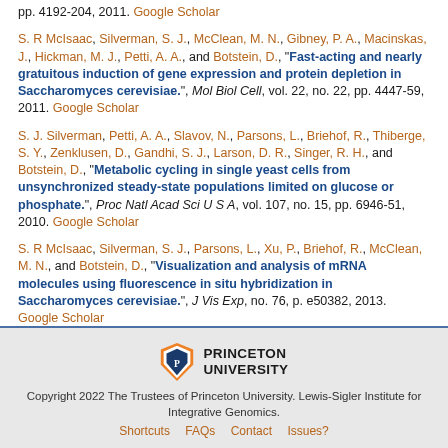pp. 4192-204, 2011. Google Scholar
S. R McIsaac, Silverman, S. J., McClean, M. N., Gibney, P. A., Macinskas, J., Hickman, M. J., Petti, A. A., and Botstein, D., "Fast-acting and nearly gratuitous induction of gene expression and protein depletion in Saccharomyces cerevisiae.", Mol Biol Cell, vol. 22, no. 22, pp. 4447-59, 2011. Google Scholar
S. J. Silverman, Petti, A. A., Slavov, N., Parsons, L., Briehof, R., Thiberge, S. Y., Zenklusen, D., Gandhi, S. J., Larson, D. R., Singer, R. H., and Botstein, D., "Metabolic cycling in single yeast cells from unsynchronized steady-state populations limited on glucose or phosphate.", Proc Natl Acad Sci U S A, vol. 107, no. 15, pp. 6946-51, 2010. Google Scholar
S. R McIsaac, Silverman, S. J., Parsons, L., Xu, P., Briehof, R., McClean, M. N., and Botstein, D., "Visualization and analysis of mRNA molecules using fluorescence in situ hybridization in Saccharomyces cerevisiae.", J Vis Exp, no. 76, p. e50382, 2013. Google Scholar
[Figure (logo): Princeton University shield logo]
Copyright 2022 The Trustees of Princeton University. Lewis-Sigler Institute for Integrative Genomics. Shortcuts FAQs Contact Issues?